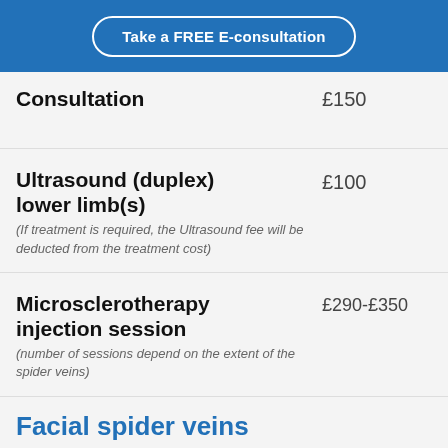Take a FREE E-consultation
| Service | Price |
| --- | --- |
| Consultation | £150 |
| Ultrasound (duplex) lower limb(s)
(If treatment is required, the Ultrasound fee will be deducted from the treatment cost) | £100 |
| Microsclerotherapy injection session
(number of sessions depend on the extent of the spider veins) | £290-£350 |
Facial spider veins